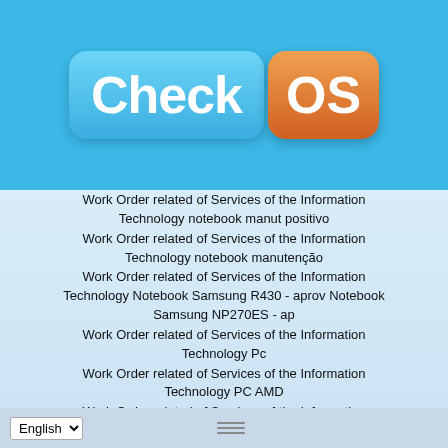[Figure (logo): CheckOS app logo on a blue banner background. 'Check' in white bold text on a blue rounded rectangle, 'OS' in white bold text on an orange rounded rectangle.]
Work Order related of Services of the Information Technology notebook manut positivo
Work Order related of Services of the Information Technology notebook manutenção
Work Order related of Services of the Information Technology Notebook Samsung R430 - aprov Notebook Samsung NP270ES - ap
Work Order related of Services of the Information Technology Pc
Work Order related of Services of the Information Technology PC AMD
Work Order related of Services of the Information Technology PC Computador PC i3
Work Order related of Services of the Information Technology Pc Cougar
Work Order related of Services of the Information
English (language selector) ≡